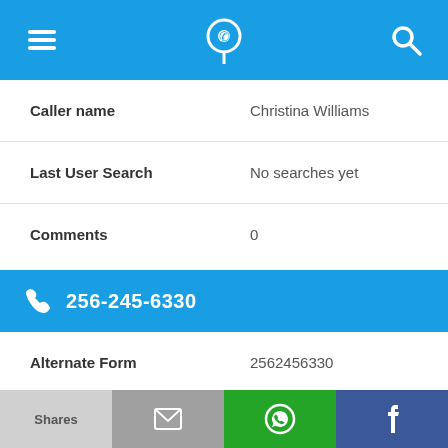App header with menu, phone/location icon, and search icon
Caller name: Christina Williams
Last User Search: No searches yet
Comments: 0
256-245-6330
Alternate Form: 2562456330
Caller name: Dennis Thompson
Shares | mail icon | WhatsApp icon | Facebook icon